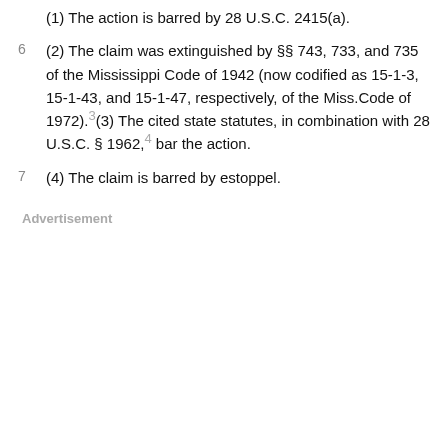(1) The action is barred by 28 U.S.C. 2415(a).
(2) The claim was extinguished by §§ 743, 733, and 735 of the Mississippi Code of 1942 (now codified as 15-1-3, 15-1-43, and 15-1-47, respectively, of the Miss.Code of 1972).3(3) The cited state statutes, in combination with 28 U.S.C. § 1962,4 bar the action.
(4) The claim is barred by estoppel.
Advertisement